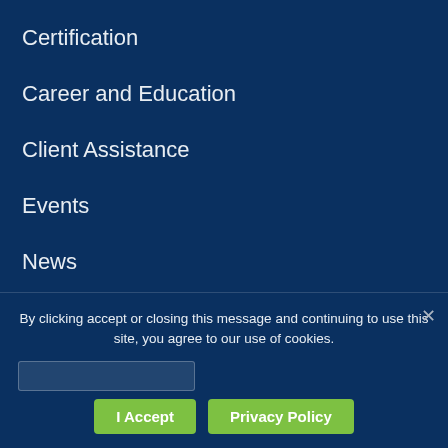Certification
Career and Education
Client Assistance
Events
News
Member Center
About Us
Member Login
By clicking accept or closing this message and continuing to use this site, you agree to our use of cookies.
I Accept
Privacy Policy